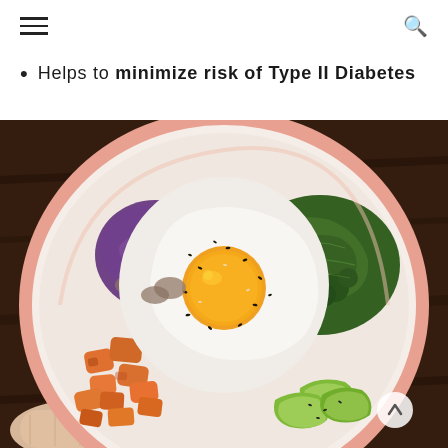[hamburger menu icon] [search icon]
Helps to minimize risk of Type II Diabetes
[Figure (photo): Close-up photo of a colorful healthy food bowl held in a hand, containing a fried egg on top with sesame seeds, purple cabbage, orange sweet potato chunks, green kale, avocado slices, and mushrooms, in a ceramic bowl with a peach/salmon colored rim, set against a dark wood background.]